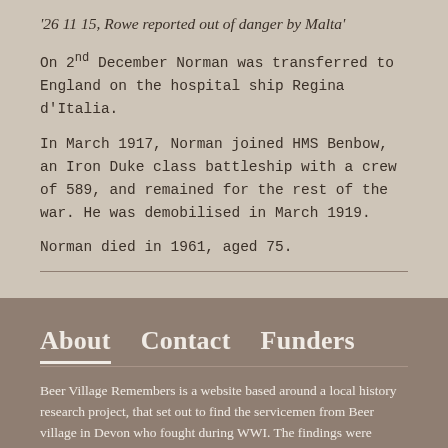'26 11 15, Rowe reported out of danger by Malta'
On 2nd December Norman was transferred to England on the hospital ship Regina d'Italia.
In March 1917, Norman joined HMS Benbow, an Iron Duke class battleship with a crew of 589, and remained for the rest of the war. He was demobilised in March 1919.
Norman died in 1961, aged 75.
About   Contact   Funders
Beer Village Remembers is a website based around a local history research project, that set out to find the servicemen from Beer village in Devon who fought during WWI. The findings were...